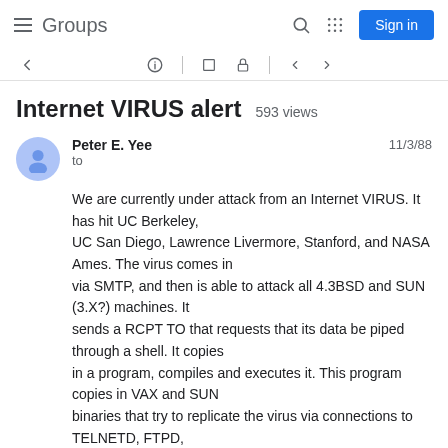Groups  Sign in
Internet VIRUS alert  593 views
Peter E. Yee  to  11/3/88
We are currently under attack from an Internet VIRUS. It has hit UC Berkeley,
UC San Diego, Lawrence Livermore, Stanford, and NASA Ames. The virus comes in
via SMTP, and then is able to attack all 4.3BSD and SUN (3.X?) machines. It
sends a RCPT TO that requests that its data be piped through a shell. It copies
in a program, compiles and executes it. This program copies in VAX and SUN
binaries that try to replicate the virus via connections to TELNETD, FTPD,
FINGERD, RSHD, and SMTP. The programs also appear to have DES tables in them.